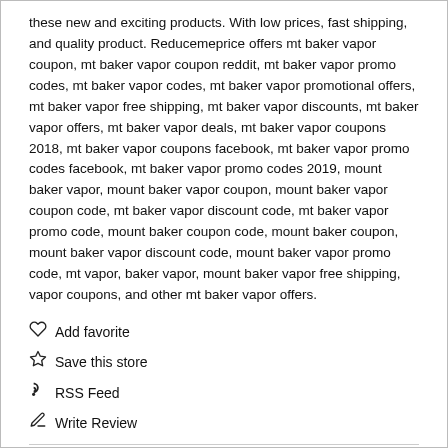these new and exciting products. With low prices, fast shipping, and quality product. Reducemeprice offers mt baker vapor coupon, mt baker vapor coupon reddit, mt baker vapor promo codes, mt baker vapor codes, mt baker vapor promotional offers, mt baker vapor free shipping, mt baker vapor discounts, mt baker vapor offers, mt baker vapor deals, mt baker vapor coupons 2018, mt baker vapor coupons facebook, mt baker vapor promo codes facebook, mt baker vapor promo codes 2019, mount baker vapor, mount baker vapor coupon, mount baker vapor coupon code, mt baker vapor discount code, mt baker vapor promo code, mount baker coupon code, mount baker coupon, mount baker vapor discount code, mount baker vapor promo code, mt vapor, baker vapor, mount baker vapor free shipping, vapor coupons, and other mt baker vapor offers.
Add favorite
Save this store
RSS Feed
Write Review
Visit Website